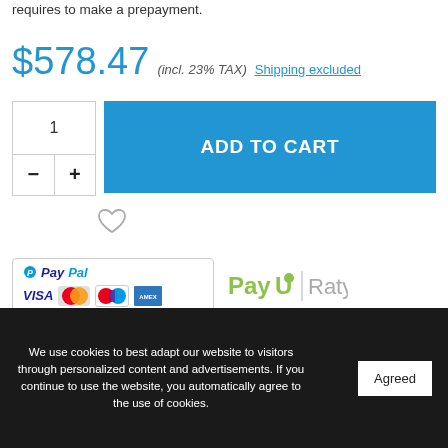requires to make a prepayment.
$578.47 (incl. 23% TAX) Shipping excluded
[Figure (screenshot): Add to cart UI with quantity selector showing 1, minus and plus buttons, and a blue ADD TO CART button]
[Figure (logo): PayPal payment logos: VISA, MasterCard, Maestro, American Express]
[Figure (logo): PayU Raty payment logo]
We use cookies to best adapt our website to visitors through personalized content and advertisements. If you continue to use the website, you automatically agree to the use of cookies.